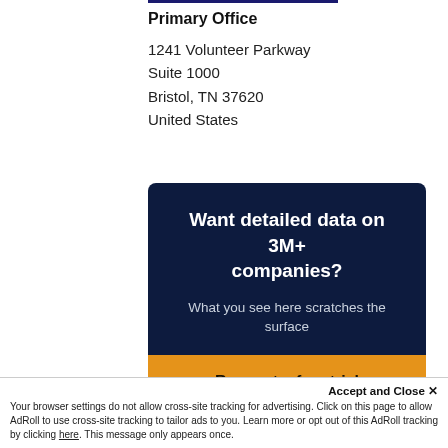Primary Office
1241 Volunteer Parkway
Suite 1000
Bristol, TN 37620
United States
[Figure (infographic): Dark navy promotional box with headline 'Want detailed data on 3M+ companies?', subtext 'What you see here scratches the surface', and an orange 'Request a free trial' button]
Accept and Close ✕
Your browser settings do not allow cross-site tracking for advertising. Click on this page to allow AdRoll to use cross-site tracking to tailor ads to you. Learn more or opt out of this AdRoll tracking by clicking here. This message only appears once.